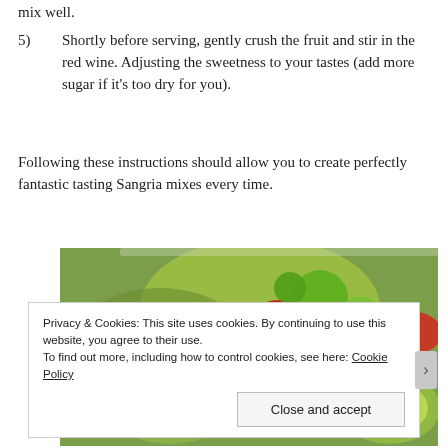mix well.
5)    Shortly before serving, gently crush the fruit and stir in the red wine. Adjusting the sweetness to your tastes (add more sugar if it's too dry for you).
Following these instructions should allow you to create perfectly fantastic tasting Sangria mixes every time.
[Figure (photo): A glass filled with colorful fruits including kiwi slices, strawberries, and other fruits, likely a Sangria drink.]
Privacy & Cookies: This site uses cookies. By continuing to use this website, you agree to their use. To find out more, including how to control cookies, see here: Cookie Policy
Close and accept